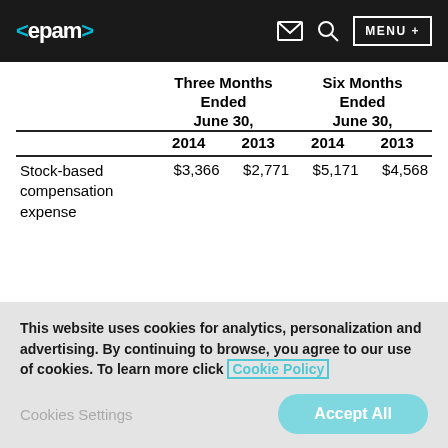<epam> MENU +
|  | Three Months Ended June 30, 2014 | Three Months Ended June 30, 2013 | Six Months Ended June 30, 2014 | Six Months Ended June 30, 2013 |
| --- | --- | --- | --- | --- |
| Stock-based compensation expense | $3,366 | $2,771 | $5,171 | $4,568 |
| Acquisition-related | 299 | 10 | 880 | 48 |
This website uses cookies for analytics, personalization and advertising. By continuing to browse, you agree to our use of cookies. To learn more click Cookie Policy
Cookies Settings  Accept All